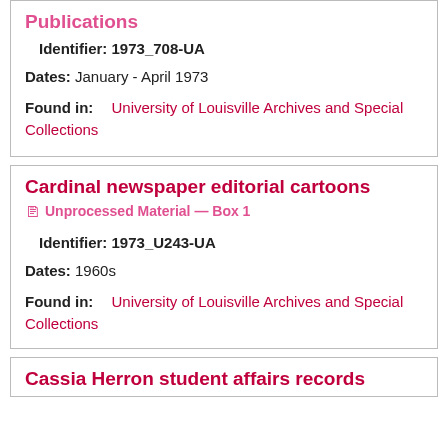Publications
Identifier: 1973_708-UA
Dates: January - April 1973
Found in: University of Louisville Archives and Special Collections
Cardinal newspaper editorial cartoons
Unprocessed Material — Box 1
Identifier: 1973_U243-UA
Dates: 1960s
Found in: University of Louisville Archives and Special Collections
Cassia Herron student affairs records